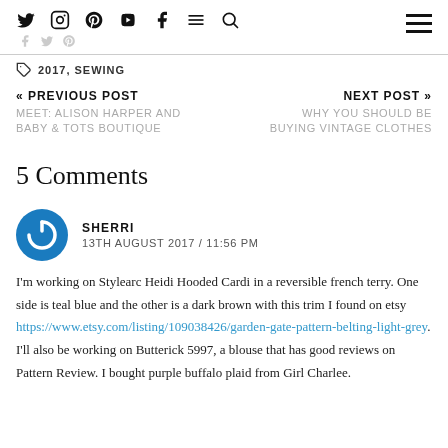Social nav icons: Twitter, Instagram, Pinterest, YouTube, Facebook, Menu, Search, Hamburger menu
2017, SEWING
« PREVIOUS POST
MEET: ALISON HARPER AND BABY & TOTS BOUTIQUE
NEXT POST »
WHY YOU SHOULD BE BUYING VINTAGE CLOTHES
5 Comments
SHERRI
13TH AUGUST 2017 / 11:56 PM
I'm working on Stylearc Heidi Hooded Cardi in a reversible french terry. One side is teal blue and the other is a dark brown with this trim I found on etsy https://www.etsy.com/listing/109038426/garden-gate-pattern-belting-light-grey. I'll also be working on Butterick 5997, a blouse that has good reviews on Pattern Review. I bought purple buffalo plaid from Girl Charlee.